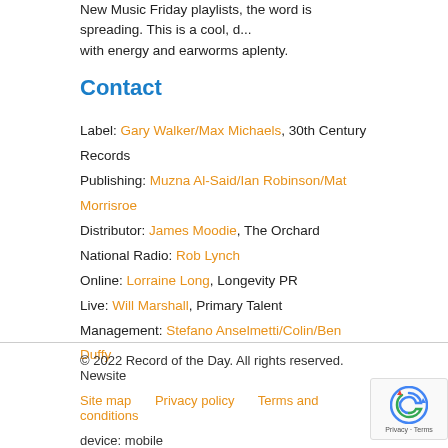New Music Friday playlists, the word is spreading. This is a cool, dynamic record packed with energy and earworms aplenty.
Contact
Label: Gary Walker/Max Michaels, 30th Century Records
Publishing: Muzna Al-Said/Ian Robinson/Mat Morrisroe
Distributor: James Moodie, The Orchard
National Radio: Rob Lynch
Online: Lorraine Long, Longevity PR
Live: Will Marshall, Primary Talent
Management: Stefano Anselmetti/Colin/Ben Duffy
© 2022 Record of the Day. All rights reserved. Newsite
Site map   Privacy policy   Terms and conditions
device: mobile